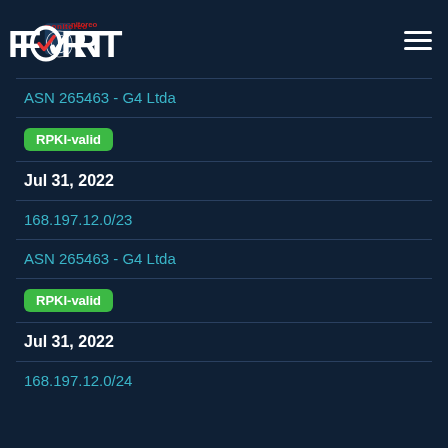FORT monitoreo
ASN 265463 - G4 Ltda
RPKI-valid
Jul 31, 2022
168.197.12.0/23
ASN 265463 - G4 Ltda
RPKI-valid
Jul 31, 2022
168.197.12.0/24